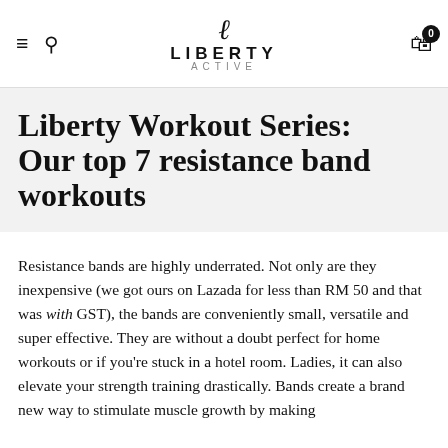LIBERTY ACTIVE
Liberty Workout Series: Our top 7 resistance band workouts
Resistance bands are highly underrated. Not only are they inexpensive (we got ours on Lazada for less than RM 50 and that was with GST), the bands are conveniently small, versatile and super effective. They are without a doubt perfect for home workouts or if you're stuck in a hotel room. Ladies, it can also elevate your strength training drastically. Bands create a brand new way to stimulate muscle growth by making